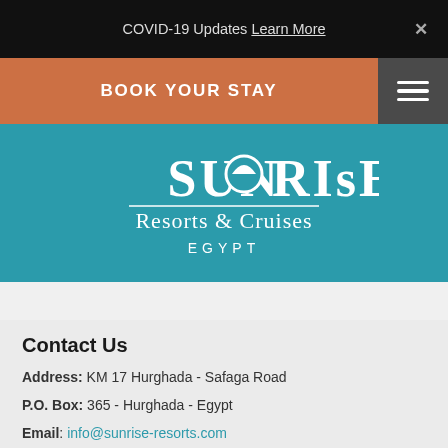COVID-19 Updates Learn More ✕
BOOK YOUR STAY
[Figure (logo): Sunrise Resorts & Cruises Egypt logo — white text on teal background with sun rising over horizon motif in the letter 'O']
Contact Us
Address: KM 17 Hurghada - Safaga Road
P.O. Box: 365 - Hurghada - Egypt
Email: info@sunrise-resorts.com
Fax: +202 33032473
+202 16032